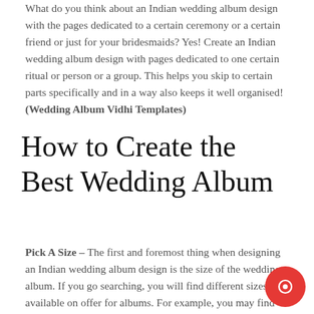What do you think about an Indian wedding album design with the pages dedicated to a certain ceremony or a certain friend or just for your bridesmaids? Yes! Create an Indian wedding album design with pages dedicated to one certain ritual or person or a group. This helps you skip to certain parts specifically and in a way also keeps it well organised! (Wedding Album Vidhi Templates)
How to Create the Best Wedding Album
Pick A Size – The first and foremost thing when designing an Indian wedding album design is the size of the wedding album. If you go searching, you will find different sizes available on offer for albums. For example, you may find sizes from 8×8, 12×12 etc. Albums of 11×14 inches are also ty... demanded by clients. However, you need to pick the size t...